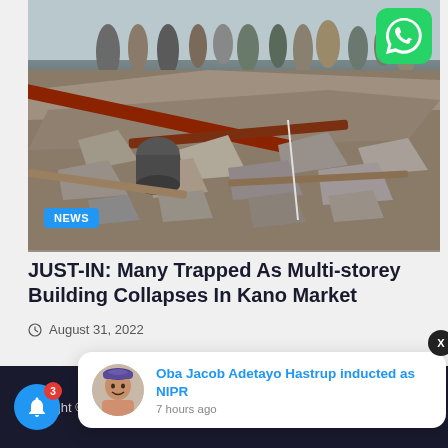[Figure (photo): Collapsed multi-storey building rubble with people standing on top of the debris, rescue scene in Kano Market. A blue NEWS badge is overlaid at the bottom left of the image. A WhatsApp icon is at the top right corner.]
JUST-IN: Many Trapped As Multi-storey Building Collapses In Kano Market
August 31, 2022
Copyright ©
Oba Jacob Adetayo Hastrup inducted as NIPR
7 hours ago